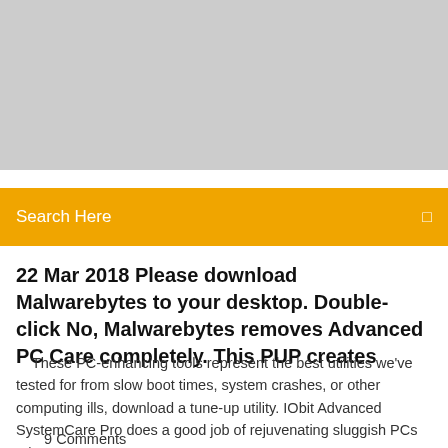[Figure (other): Gray banner/image placeholder at top of page]
Search Here
22 Mar 2018 Please download Malwarebytes to your desktop. Double-click No, Malwarebytes removes Advanced PC Care completely. This PUP creates
These PC-enhancing tools represent the best utilities we've tested for from slow boot times, system crashes, or other computing ills, download a tune-up utility. IObit Advanced SystemCare Pro does a good job of rejuvenating sluggish PCs    |
9 Comments